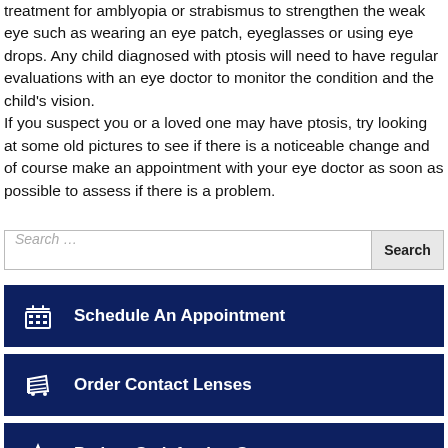treatment for amblyopia or strabismus to strengthen the weak eye such as wearing an eye patch, eyeglasses or using eye drops. Any child diagnosed with ptosis will need to have regular evaluations with an eye doctor to monitor the condition and the child's vision. If you suspect you or a loved one may have ptosis, try looking at some old pictures to see if there is a noticeable change and of course make an appointment with your eye doctor as soon as possible to assess if there is a problem.
Search …
Schedule An Appointment
Order Contact Lenses
Patient Satisfaction Survey